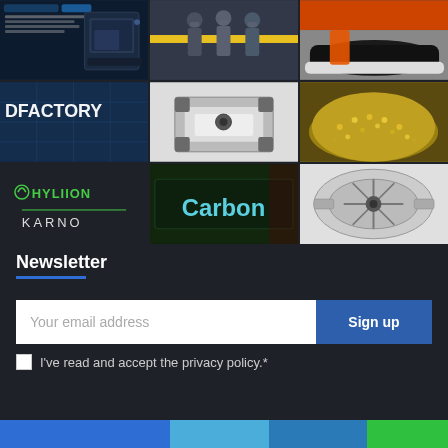[Figure (photo): 3D printer product advertisement with dark blue background]
[Figure (photo): People in masks shaking hands in front of yellow ribbon]
[Figure (photo): Close-up of athletic shoe with orange sock]
[Figure (photo): DFactory building exterior with large lettering]
[Figure (photo): 3D printed mechanical part, black plastic frame]
[Figure (photo): Golden dome-shaped object with textured surface]
[Figure (logo): Hyliion and Karno logos on dark background]
[Figure (photo): Carbon 3D printing company sign with green lighting]
[Figure (photo): Jet engine mechanical diagram/photo in grayscale]
Newsletter
Your email address
Sign up
I've read and accept the privacy policy.*